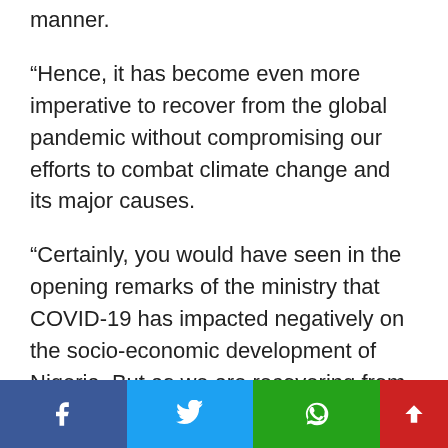manner.
“Hence, it has become even more imperative to recover from the global pandemic without compromising our efforts to combat climate change and its major causes.
“Certainly, you would have seen in the opening remarks of the ministry that COVID-19 has impacted negatively on the socio-economic development of Nigeria. But as we are recovering from COVID – 19, we have to factor in sustainability issues.
“The sustainability plan that the government has put in place also have to factor in issues of